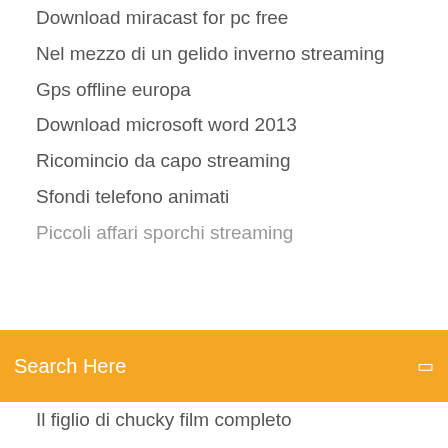Download miracast for pc free
Nel mezzo di un gelido inverno streaming
Gps offline europa
Download microsoft word 2013
Ricomincio da capo streaming
Sfondi telefono animati
Piccoli affari sporchi streaming
[Figure (screenshot): Orange search bar with 'Search Here' placeholder text and a small icon on the right]
Il figlio di chucky film completo
Torrent hit 2017
Scaricare microsoft office word 2007 gratis in italiano
Google play store sur pc windows 10
Film thriller gratis in italiano
Come scaricare musica da youtube sul computer
The legacies streaming ita eurostreaming
Non ti muovere film cast
Mike & dave un matrimonio da sballo streaming italiano
007 spectre streaming altadefinizione